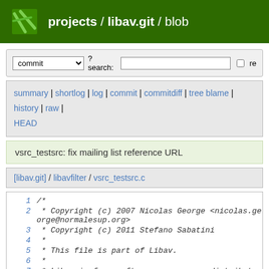projects / libav.git / blob
commit ? search: re
summary | shortlog | log | commit | commitdiff | tree blame | history | raw | HEAD
vsrc_testsrc: fix mailing list reference URL
[libav.git] / libavfilter / vsrc_testsrc.c
1 /*
2  * Copyright (c) 2007 Nicolas George <nicolas.george@normalesup.org>
3  * Copyright (c) 2011 Stefano Sabatini
4  *
5  * This file is part of Libav.
6  *
7  * Libav is free software; you can redistribute it and/or